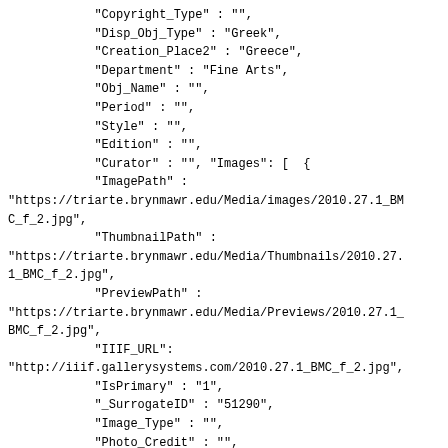"Copyright_Type" : "",
"Disp_Obj_Type" : "Greek",
"Creation_Place2" : "Greece",
"Department" : "Fine Arts",
"Obj_Name" : "",
"Period" : "",
"Style" : "",
"Edition" : "",
"Curator" : "", "Images": [ {
"ImagePath" :
"https://triarte.brynmawr.edu/Media/images/2010.27.1_BMC_f_2.jpg",
"ThumbnailPath" :
"https://triarte.brynmawr.edu/Media/Thumbnails/2010.27.1_BMC_f_2.jpg",
"PreviewPath" :
"https://triarte.brynmawr.edu/Media/Previews/2010.27.1_BMC_f_2.jpg",
"IIIF_URL":
"http://iiif.gallerysystems.com/2010.27.1_BMC_f_2.jpg",
"IsPrimary" : "1",
"_SurrogateID" : "51290",
"Image_Type" : "",
"Photo_Credit" : "",
"Remarks" : "",
"View" : "" } ,   ]
},
]